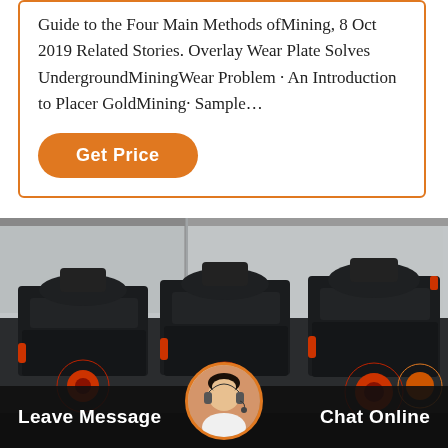Guide to the Four Main Methods ofMining, 8 Oct 2019 Related Stories. Overlay Wear Plate Solves UndergroundMiningWear Problem · An Introduction to Placer GoldMining· Sample…
Get Price
[Figure (photo): Three large black industrial mining cone crushers with red accents, parked inside a warehouse/factory. The machines have circular red wheel mechanisms at the base.]
Leave Message
[Figure (photo): Avatar of a woman with headset wearing a white top, displayed in a circular frame with orange border]
Chat Online